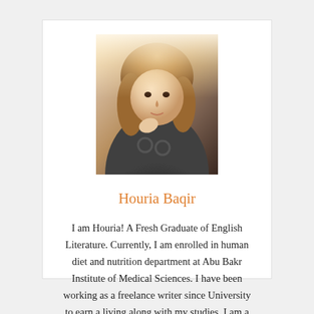[Figure (photo): Profile photo of a young woman with long brown hair, wearing a dark jacket with circular embellishments, photo taken in selfie style with bright light from above]
Houria Baqir
I am Houria! A Fresh Graduate of English Literature. Currently, I am enrolled in human diet and nutrition department at Abu Bakr Institute of Medical Sciences. I have been working as a freelance writer since University to earn a living along with my studies. I am a lot into research and currently providing my writing services for this site to help elderly and special people.